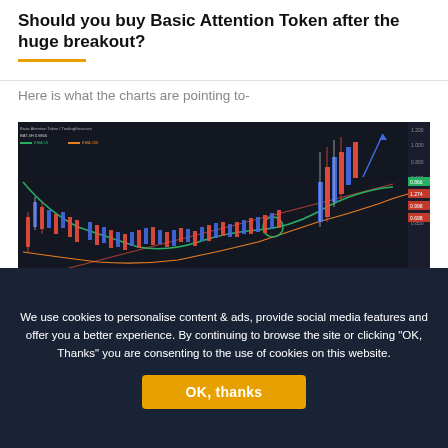Should you buy Basic Attention Token after the huge breakout?
Here is what the charts are pointing to-
[Figure (screenshot): Dark-themed cryptocurrency candlestick trading chart showing Basic Attention Token (BAT) price action with moving average lines (green and red/orange), candlestick bars in red and blue/white, an upward-sloping red trendline, a circled area near the right side, a volume indicator at the bottom, and price labels on the right axis. The chart shows a significant upward breakout on the far right.]
We use cookies to personalise content & ads, provide social media features and offer you a better experience. By continuing to browse the site or clicking "OK, Thanks" you are consenting to the use of cookies on this website.